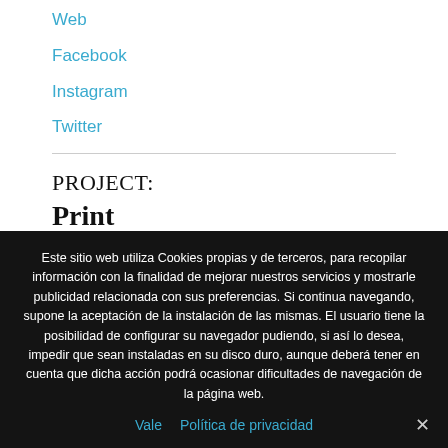Web
Facebook
Instagram
Twitter
PROJECT:
Print
Este sitio web utiliza Cookies propias y de terceros, para recopilar información con la finalidad de mejorar nuestros servicios y mostrarle publicidad relacionada con sus preferencias. Si continua navegando, supone la aceptación de la instalación de las mismas. El usuario tiene la posibilidad de configurar su navegador pudiendo, si así lo desea, impedir que sean instaladas en su disco duro, aunque deberá tener en cuenta que dicha acción podrá ocasionar dificultades de navegación de la página web.
Vale
Política de privacidad